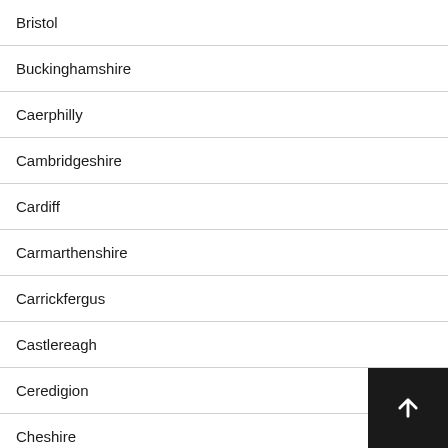Bristol
Buckinghamshire
Caerphilly
Cambridgeshire
Cardiff
Carmarthenshire
Carrickfergus
Castlereagh
Ceredigion
Cheshire
City of Edinburgh